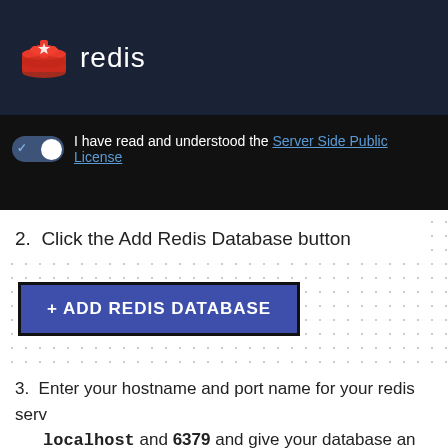[Figure (screenshot): Redis logo with red icon and white text 'redis' on dark navy background header]
I have read and understood the Server Side Public License
2. Click the Add Redis Database button
[Figure (screenshot): Blue button labeled '+ ADD REDIS DATABASE' with dark border]
3. Enter your hostname and port name for your redis serv... localhost and 6379 and give your database an alias